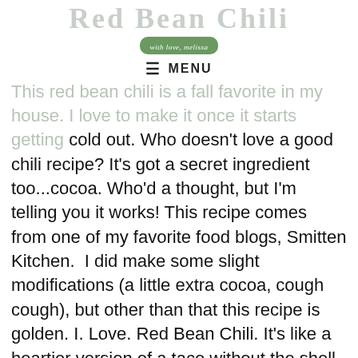Red Bean Chili
with love, melissa
≡ MENU
This red bean chili is a fall favorite in my house. I love to make it once it starts getting cold out. Who doesn't love a good chili recipe? It's got a secret ingredient too...cocoa. Who'd a thought, but I'm telling you it works! This recipe comes from one of my favorite food blogs, Smitten Kitchen.  I did make some slight modifications (a little extra cocoa, cough cough), but other than that this recipe is golden. I. Love. Red Bean Chili. It's like a heartier version of a taco without the shell and there's so much that